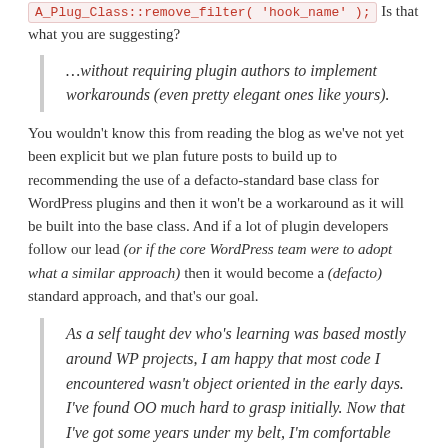A_Plug_Class::remove_filter( 'hook_name' );  Is that what you are suggesting?
…without requiring plugin authors to implement workarounds (even pretty elegant ones like yours).
You wouldn't know this from reading the blog as we've not yet been explicit but we plan future posts to build up to recommending the use of a defacto-standard base class for WordPress plugins and then it won't be a workaround as it will be built into the base class. And if a lot of plugin developers follow our lead (or if the core WordPress team were to adopt what a similar approach) then it would become a (defacto) standard approach, and that's our goal.
As a self taught dev who's learning was based mostly around WP projects, I am happy that most code I encountered wasn't object oriented in the early days. I've found OO much hard to grasp initially. Now that I've got some years under my belt, I'm comfortable with it (just wrote a class